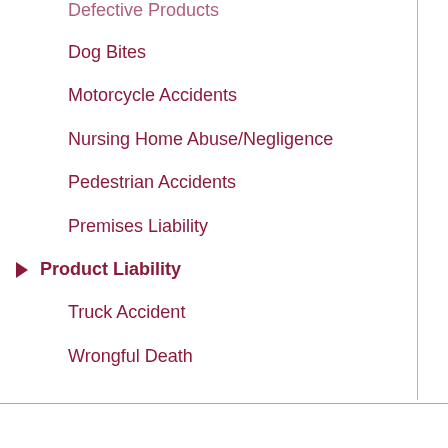Defective Products
Dog Bites
Motorcycle Accidents
Nursing Home Abuse/Negligence
Pedestrian Accidents
Premises Liability
Product Liability
Truck Accident
Wrongful Death